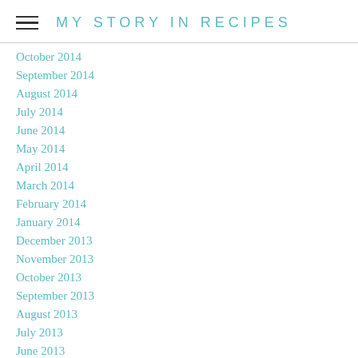MY STORY IN RECIPES
October 2014
September 2014
August 2014
July 2014
June 2014
May 2014
April 2014
March 2014
February 2014
January 2014
December 2013
November 2013
October 2013
September 2013
August 2013
July 2013
June 2013